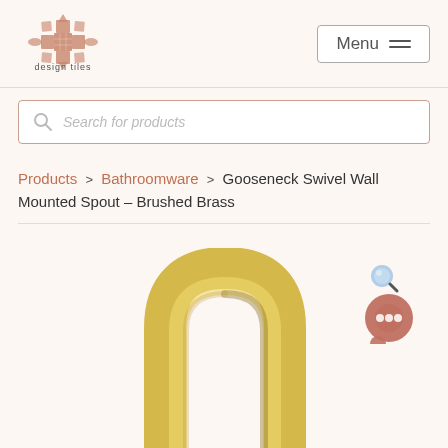[Figure (logo): Design Tiles logo: decorative cross/star shape in terracotta/rose color made of grid pattern, with text 'design tiles' below]
Menu
Search for products
Products > Bathroomware > Gooseneck Swivel Wall Mounted Spout – Brushed Brass
[Figure (photo): Close-up photo of a gooseneck swivel wall mounted spout in brushed brass finish. The spout has a curved arch shape in gold/brass color. There is a magnifying glass icon and a chat bubble icon in the upper right area of the image.]